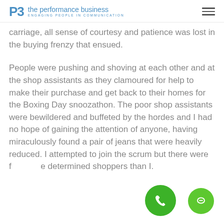PB the performance business ENGAGING PEOPLE IN COMMUNICATION
carriage, all sense of courtesy and patience was lost in the buying frenzy that ensued.
People were pushing and shoving at each other and at the shop assistants as they clamoured for help to make their purchase and get back to their homes for the Boxing Day snoozathon. The poor shop assistants were bewildered and buffeted by the hordes and I had no hope of gaining the attention of anyone, having miraculously found a pair of jeans that were heavily reduced. I attempted to join the scrum but there were far more determined shoppers than I.